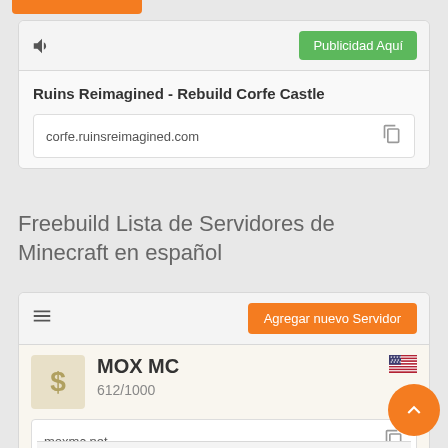[Figure (screenshot): Orange top navigation bar stub]
[Figure (screenshot): Advertisement card with megaphone icon, 'Publicidad Aquí' green button, title 'Ruins Reimagined - Rebuild Corfe Castle', and URL corfe.ruinsreimagined.com with copy icon]
Freebuild Lista de Servidores de Minecraft en español
[Figure (screenshot): Minecraft server listing card with toolbar showing list icon and orange 'Agregar nuevo Servidor' button, MOX MC server entry with dollar sign icon, 612/1000 players, moxmc.net URL, US flag, and partial tag strip at bottom]